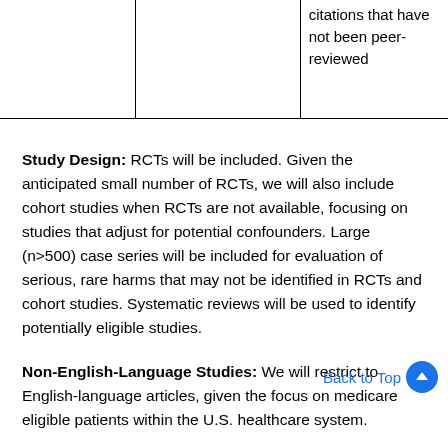|  |  | citations that have not been peer-reviewed |
Study Design: RCTs will be included. Given the anticipated small number of RCTs, we will also include cohort studies when RCTs are not available, focusing on studies that adjust for potential confounders. Large (n>500) case series will be included for evaluation of serious, rare harms that may not be identified in RCTs and cohort studies. Systematic reviews will be used to identify potentially eligible studies.
Non-English-Language Studies: We will restrict to English-language articles, given the focus on medicare eligible patients within the U.S. healthcare system.